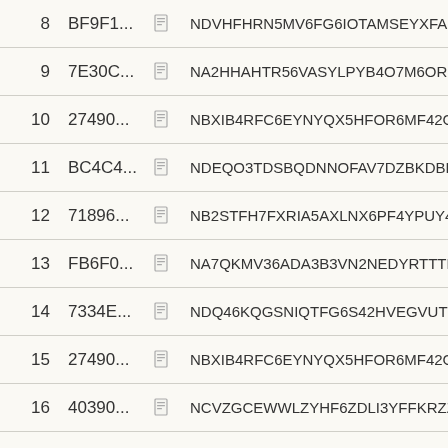| # | ID |  | Code |
| --- | --- | --- | --- |
| 8 | BF9F1... | 📋 | NDVHFHRN5MV6FG6IOTAMSEYXFADBONYRY |
| 9 | 7E30C... | 📋 | NA2HHAHTR56VASYLPYB4O7M6ORNW35P4HB |
| 10 | 27490... | 📋 | NBXIB4RFC6EYNYQX5HFOR6MF42GXL33KJXP |
| 11 | BC4C4... | 📋 | NDEQO3TDSBQDNNOFAV7DZBKDBDSXALUR2 |
| 12 | 71896... | 📋 | NB2STFH7FXRIA5AXLNX6PF4YPUY4JLYYPEV( |
| 13 | FB6F0... | 📋 | NA7QKMV36ADA3B3VN2NEDYRTTTL3THCRRA |
| 14 | 7334E... | 📋 | NDQ46KQGSNIQTFG6S42HVEGVUTEJS2IJNH( |
| 15 | 27490... | 📋 | NBXIB4RFC6EYNYQX5HFOR6MF42GXL33KJXP |
| 16 | 40390... | 📋 | NCVZGCEWWLZYHF6ZDLI3YFFKRZZ34EPN3X |